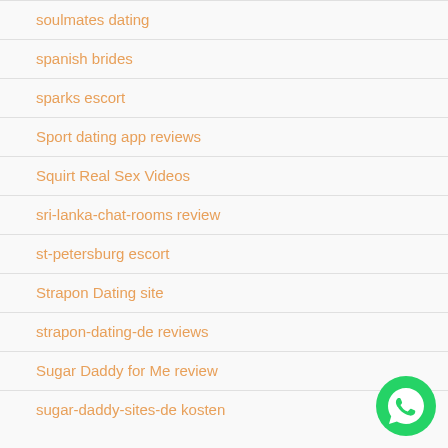soulmates dating
spanish brides
sparks escort
Sport dating app reviews
Squirt Real Sex Videos
sri-lanka-chat-rooms review
st-petersburg escort
Strapon Dating site
strapon-dating-de reviews
Sugar Daddy for Me review
sugar-daddy-sites-de kosten
[Figure (logo): WhatsApp green phone icon logo]